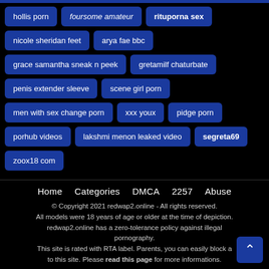hollis porn
foursome amateur
rituporna sex
nicole sheridan feet
arya fae bbc
grace samantha sneak n peek
gretamilf chaturbate
penis extender sleeve
scene girl porn
men with sex change porn
xxx youx
pidge porn
porhub videos
lakshmi menon leaked video
segreta69
zoox18 com
Home   Categories   DMCA   2257   Abuse
© Copyright 2021 redwap2.online - All rights reserved. All models were 18 years of age or older at the time of depiction. redwap2.online has a zero-tolerance policy against illegal pornography. This site is rated with RTA label. Parents, you can easily block access to this site. Please read this page for more informations.